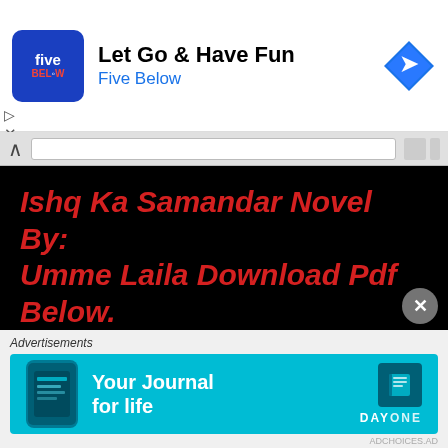[Figure (screenshot): Five Below advertisement banner with logo, title 'Let Go & Have Fun', subtitle 'Five Below', and navigation icon]
Ishq Ka Samandar Novel By: Umme Laila Download Pdf Below.
Download Pdf
Also Download:
[Figure (screenshot): Day One 'Your Journal for life' advertisement banner in cyan/teal color with phone image and DAY ONE logo]